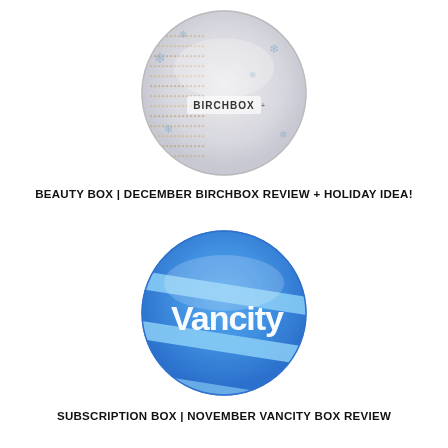[Figure (photo): Circular Birchbox tin lid with holographic/sparkly decorative pattern featuring snowflakes and holiday motifs, with 'BIRCHBOX' text visible in the center]
BEAUTY BOX | DECEMBER BIRCHBOX REVIEW + HOLIDAY IDEA!
[Figure (photo): Circular blue box lid with 'Vancity' text in large white letters on a bright blue background with light blue diagonal stripe accents]
SUBSCRIPTION BOX | NOVEMBER VANCITY BOX REVIEW